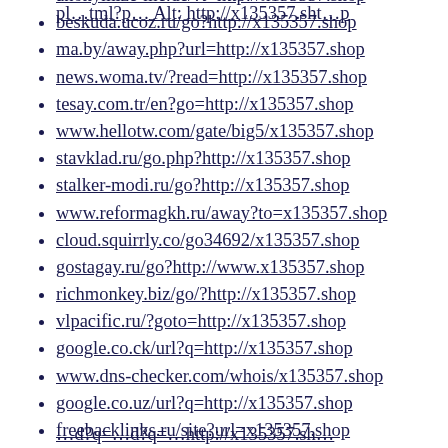anonymize-me.de/?t=http://x135357.shop
beskuda.ucoz.ru/go?http://x135357.shop
ma.by/away.php?url=http://x135357.shop
news.woma.tv/?read=http://x135357.shop
tesay.com.tr/en?go=http://x135357.shop
www.hellotw.com/gate/big5/x135357.shop
stavklad.ru/go.php?http://x135357.shop
stalker-modi.ru/go?http://x135357.shop
www.reformagkh.ru/away?to=x135357.shop
cloud.squirrly.co/go34692/x135357.shop
gostagay.ru/go?http://www.x135357.shop
richmonkey.biz/go/?http://x135357.shop
vlpacific.ru/?goto=http://x135357.shop
google.co.ck/url?q=http://x135357.shop
www.dns-checker.com/whois/x135357.shop
google.co.uz/url?q=http://x135357.shop
freebacklinks.ru/site?url=x135357.shop
google.co.ls/url?q=http://x135357.shop